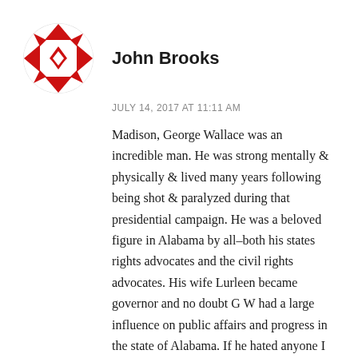[Figure (illustration): Red and white geometric/quilt pattern circular avatar icon for user John Brooks]
John Brooks
JULY 14, 2017 AT 11:11 AM
Madison, George Wallace was an incredible man. He was strong mentally & physically & lived many years following being shot & paralyzed during that presidential campaign. He was a beloved figure in Alabama by all–both his states rights advocates and the civil rights advocates. His wife Lurleen became governor and no doubt G W had a large influence on public affairs and progress in the state of Alabama. If he hated anyone I think we would find it difficult to prove. With us not to help anyone...